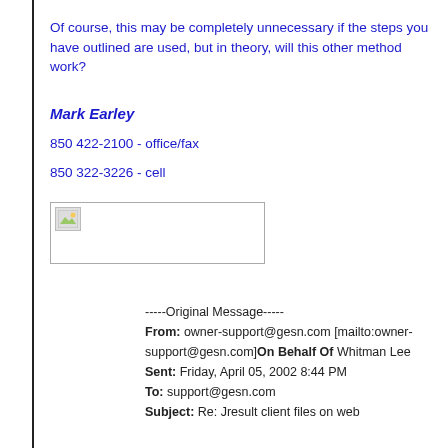Of course, this may be completely unnecessary if the steps you have outlined are used, but in theory, will this other method work?
Mark Earley
850 422-2100 - office/fax
850 322-3226 - cell
[Figure (other): Small broken image placeholder icon inside a bordered box]
-----Original Message-----
From: owner-support@gesn.com [mailto:owner-support@gesn.com]On Behalf Of Whitman Lee
Sent: Friday, April 05, 2002 8:44 PM
To: support@gesn.com
Subject: Re: Jresult client files on web